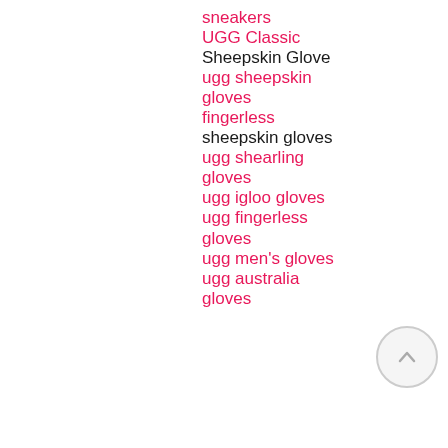sneakers
UGG Classic
Sheepskin Glove
ugg sheepskin gloves
fingerless
sheepskin gloves
ugg shearling gloves
ugg igloo gloves
ugg fingerless gloves
ugg men's gloves
ugg australia gloves
[Figure (other): Circular scroll-up button with upward arrow icon]